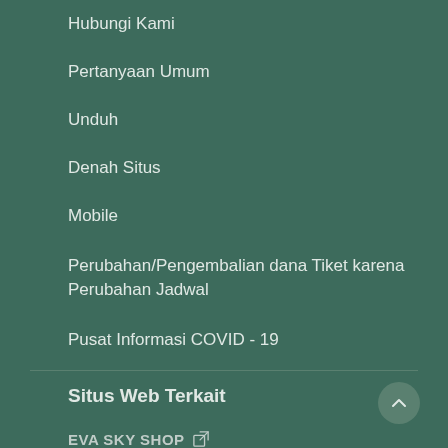Hubungi Kami
Pertanyaan Umum
Unduh
Denah Situs
Mobile
Perubahan/Pengembalian dana Tiket karena Perubahan Jadwal
Pusat Informasi COVID - 19
Situs Web Terkait
EVA SKY SHOP